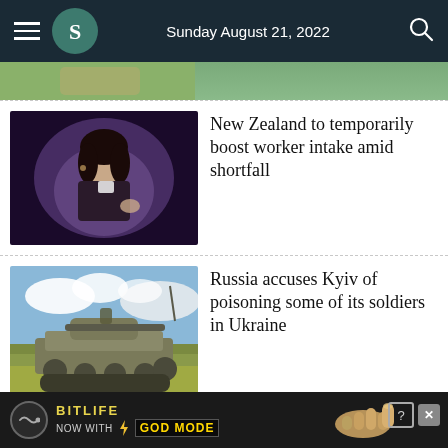Sunday August 21, 2022
[Figure (photo): Partial cropped photo at top of feed (person in outdoor setting, partially visible)]
[Figure (photo): New Zealand Prime Minister Jacinda Ardern speaking, dark background]
New Zealand to temporarily boost worker intake amid shortfall
[Figure (photo): Military tank in a field with cloudy sky (Ukraine/Russia conflict)]
Russia accuses Kyiv of poisoning some of its soldiers in Ukraine
[Figure (photo): Partial landscape photo (green hills/mountains), partially visible]
New Zealand faces 'big
[Figure (advertisement): BitLife advertisement banner - NOW WITH GOD MODE]